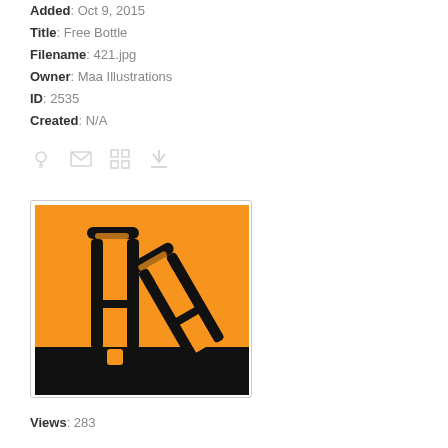Added: Oct 9, 2015
Title: Free Bottle
Filename: 421.jpg
Owner: Maa Illustrations
ID: 2535
Created: N/A
[Figure (illustration): Orange and black icon showing two crutches on an orange background with a black bottom strip]
Views: 283